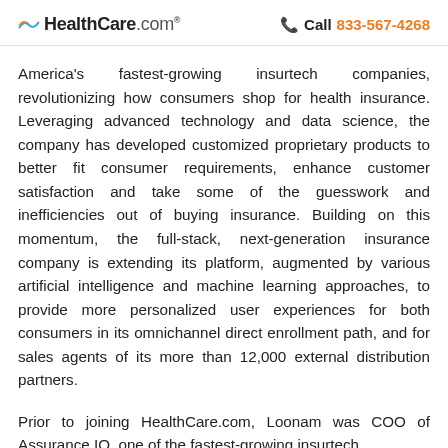HealthCare.com® | Call 833-567-4268
America's fastest-growing insurtech companies, revolutionizing how consumers shop for health insurance. Leveraging advanced technology and data science, the company has developed customized proprietary products to better fit consumer requirements, enhance customer satisfaction and take some of the guesswork and inefficiencies out of buying insurance. Building on this momentum, the full-stack, next-generation insurance company is extending its platform, augmented by various artificial intelligence and machine learning approaches, to provide more personalized user experiences for both consumers in its omnichannel direct enrollment path, and for sales agents of its more than 12,000 external distribution partners.
Prior to joining HealthCare.com, Loonam was COO of Assurance IQ, one of the fastest-growing insurtech